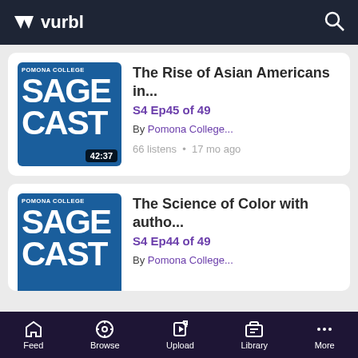vurbl
[Figure (screenshot): Podcast listing card 1: Pomona College Sagecast thumbnail with duration 42:37, title 'The Rise of Asian Americans in...', S4 Ep45 of 49, By Pomona College..., 66 listens • 17 mo ago]
[Figure (screenshot): Podcast listing card 2 (partially visible): Pomona College Sagecast thumbnail, title 'The Science of Color with autho...', S4 Ep44 of 49, By Pomona College...]
Feed  Browse  Upload  Library  More